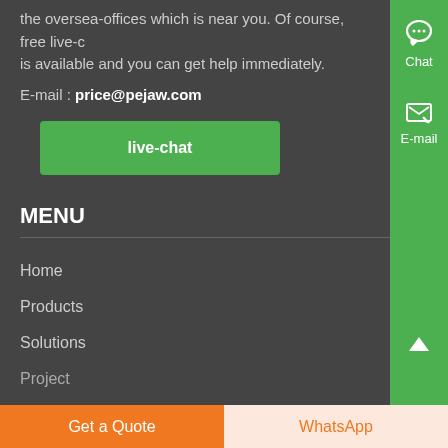the oversea-offices which is near you. Of course, free live-chat is available and you can get help immediately.
E-mail : price@pejaw.com
live-chat
MENU
Home
Products
Solutions
Project
[Figure (infographic): Green right sidebar with headphones Chat icon and email E-mail icon, plus up-arrow at bottom]
Get a Quote
WhatsApp